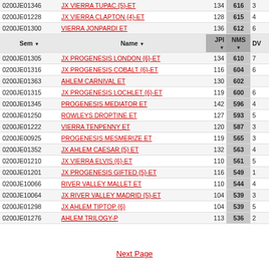| Sem | Name | JPI | NMS | DV |
| --- | --- | --- | --- | --- |
| 0200JE01346 | JX VIERRA TUPAC {5}-ET | 134 | 616 | 3 |
| 0200JE01228 | JX VIERRA CLAPTON {4}-ET | 128 | 615 | 4 |
| 0200JE01300 | VIERRA JONPARDI ET | 136 | 612 | 6 |
| Sem ▼ | Name ▼ | JPI ▼ | NMS ▼ | DV |
| 0200JE01305 | JX PROGENESIS LONDON {6}-ET | 134 | 610 | 7 |
| 0200JE01316 | JX PROGENESIS COBALT {6}-ET | 116 | 604 | 6 |
| 0200JE01363 | AHLEM CARNIVAL ET | 130 | 602 |  |
| 0200JE01315 | JX PROGENESIS LOCHLET {6}-ET | 119 | 600 | 6 |
| 0200JE01345 | PROGENESIS MEDIATOR ET | 142 | 596 | 4 |
| 0200JE01250 | ROWLEYS DROPTINE ET | 127 | 593 | 5 |
| 0200JE01222 | VIERRA TENPENNY ET | 120 | 587 | 3 |
| 0200JE00925 | PROGENESIS MESMERIZE ET | 119 | 565 | 3 |
| 0200JE01352 | JX AHLEM CAESAR {5} ET | 132 | 563 | 4 |
| 0200JE01210 | JX VIERRA ELVIS {6}-ET | 110 | 561 | 5 |
| 0200JE01201 | JX PROGENESIS GIFTED {5}-ET | 116 | 549 | 1 |
| 0200JE10066 | RIVER VALLEY MALLET ET | 110 | 544 | 4 |
| 0200JE10064 | JX RIVER VALLEY MADRID {5}-ET | 104 | 539 | 3 |
| 0200JE01298 | JX AHLEM TIPTOP {6} | 104 | 539 | 5 |
| 0200JE01276 | AHLEM TRILOGY-P | 113 | 536 | 2 |
Next Page